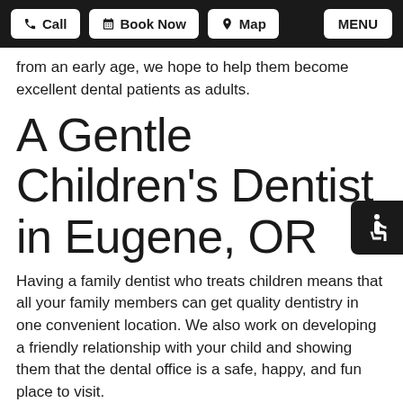Call | Book Now | Map | MENU
from an early age, we hope to help them become excellent dental patients as adults.
A Gentle Children's Dentist in Eugene, OR
Having a family dentist who treats children means that all your family members can get quality dentistry in one convenient location. We also work on developing a friendly relationship with your child and showing them that the dental office is a safe, happy, and fun place to visit.
As a parent, you have peace of mind knowing that you have a familiar professional to turn to if a problem develops